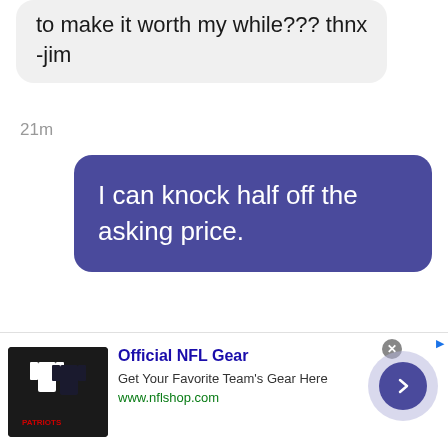to make it worth my while??? thnx -jim
21m
I can knock half off the asking price.
just now
boredpanda.com
JstnBrc
Report
[Figure (screenshot): Advertisement banner for Official NFL Gear with team jerseys image, title 'Official NFL Gear', description 'Get Your Favorite Team’s Gear Here', URL 'www.nflshop.com', and a play/next button on the right.]